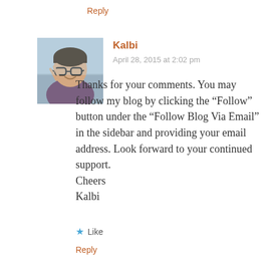Reply
[Figure (photo): Avatar photo of a woman wearing glasses making a peace sign, in a purple jacket, taken outdoors]
Kalbi
April 28, 2015 at 2:02 pm
Thanks for your comments. You may follow my blog by clicking the “Follow” button under the “Follow Blog Via Email” in the sidebar and providing your email address. Look forward to your continued support.
Cheers
Kalbi
Like
Reply